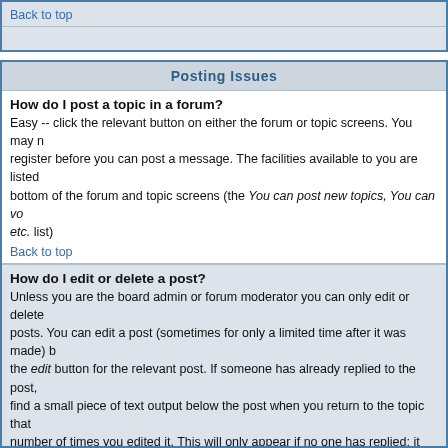Back to top
Posting Issues
How do I post a topic in a forum?
Easy -- click the relevant button on either the forum or topic screens. You may need to register before you can post a message. The facilities available to you are listed at the bottom of the forum and topic screens (the You can post new topics, You can vote in polls, etc. list)
Back to top
How do I edit or delete a post?
Unless you are the board admin or forum moderator you can only edit or delete your own posts. You can edit a post (sometimes for only a limited time after it was made) by clicking the edit button for the relevant post. If someone has already replied to the post, you will find a small piece of text output below the post when you return to the topic that lists the number of times you edited it. This will only appear if no one has replied; it also will not appear if moderators or administrators edit the post (they should leave a message saying what they altered and why). Please note that normal users cannot delete a post once someone has replied.
Back to top
How do I add a signature to my post?
To add a signature to a post you must first create one; this is done via your profile. Once created you can check the Add Signature box on the posting form to add your signature.